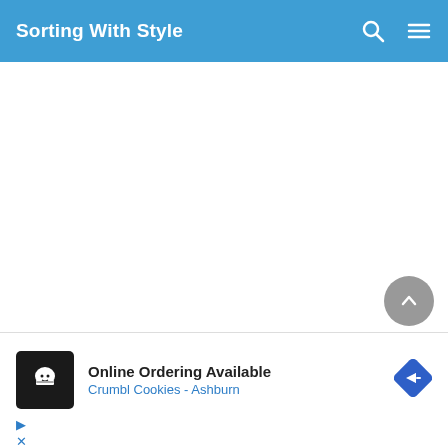Sorting With Style
[Figure (screenshot): White blank content area of a website]
[Figure (infographic): Advertisement box: Online Ordering Available - Crumbl Cookies - Ashburn, with cookie chef logo icon and navigation arrow icon, play and close controls]